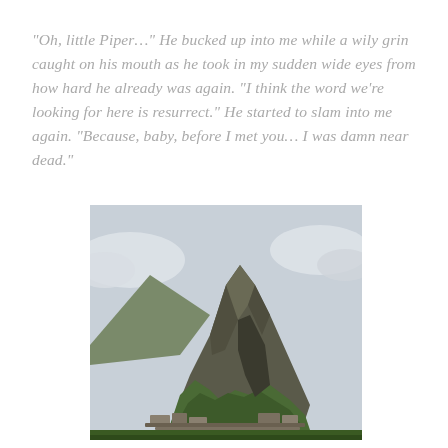“Oh, little Piper…” He bucked up into me while a wily grin caught on his mouth as he took in my sudden wide eyes from how hard he already was again. “I think the word we’re looking for here is resurrect.” He started to slam into me again. “Because, baby, before I met you… I was damn near dead.”
[Figure (photo): Photograph of Huayna Picchu mountain at Machu Picchu, Peru. The steep rocky peak rises prominently with clouds behind it. Below the peak are ancient Inca stone ruins and terraces surrounded by green vegetation.]